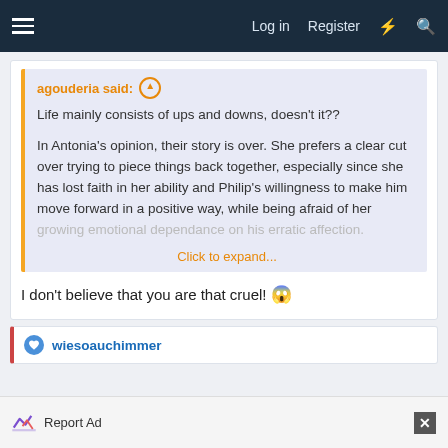Log in   Register
agouderia said:
Life mainly consists of ups and downs, doesn't it??

In Antonia's opinion, their story is over. She prefers a clear cut over trying to piece things back together, especially since she has lost faith in her ability and Philip's willingness to make him move forward in a positive way, while being afraid of her growing emotional dependance on his erratic affection.
Click to expand...
I don't believe that you are that cruel! 😱
wiesoauchimmer
Report Ad